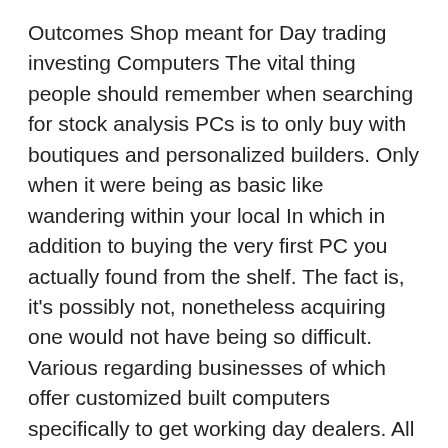Outcomes Shop meant for Day trading investing Computers The vital thing people should remember when searching for stock analysis PCs is to only buy with boutiques and personalized builders. Only when it were being as basic like wandering within your local In which in addition to buying the very first PC you actually found from the shelf. The fact is, it's possibly not, nonetheless acquiring one would not have being so difficult. Various regarding businesses of which offer customized built computers specifically to get working day dealers. All these devices are built just for running timely information, certainly not new visuals (like games computers).